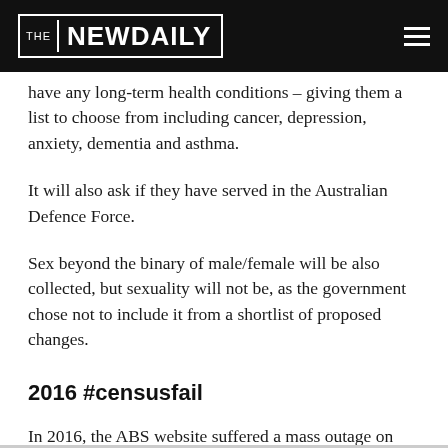THE NEW DAILY
have any long-term health conditions – giving them a list to choose from including cancer, depression, anxiety, dementia and asthma.
It will also ask if they have served in the Australian Defence Force.
Sex beyond the binary of male/female will be also collected, but sexuality will not be, as the government chose not to include it from a shortlist of proposed changes.
2016 #censusfail
In 2016, the ABS website suffered a mass outage on Census night, leading to a huge controversy that was labelled #censusfail and a $24 million budget blowout.